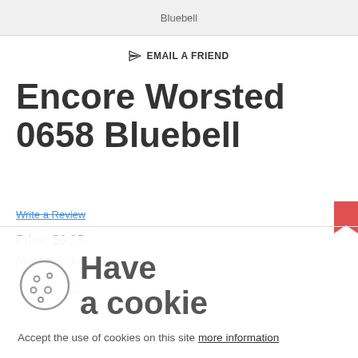Bluebell
✉ EMAIL A FRIEND
Encore Worsted 0658 Bluebell
Write a Review
Price: $6.25
Availability: In Stock
Quantity 1
Have a cookie
Accept the use of cookies on this site more information
I Accept